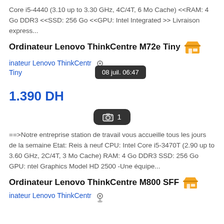Core i5-4440 (3.10 up to 3.30 GHz, 4C/4T, 6 Mo Cache) <<RAM: 4 Go DDR3 <<SSD: 256 Go <<GPU: Intel Integrated >> Livraison express...
Ordinateur Lenovo ThinkCentre M72e Tiny
inateur Lenovo ThinkCentre Tiny
08 juil. 06:47
1.390 DH
[Figure (screenshot): Camera icon with count badge showing 1 photo]
==>Notre entreprise station de travail vous accueille tous les jours de la semaine Etat: Reis à neuf CPU: Intel Core i5-3470T (2.90 up to 3.60 GHz, 2C/4T, 3 Mo Cache) RAM: 4 Go DDR3 SSD: 256 Go GPU: ntel Graphics Model HD 2500 -Une équipe...
Ordinateur Lenovo ThinkCentre M800 SFF
inateur Lenovo ThinkCentre